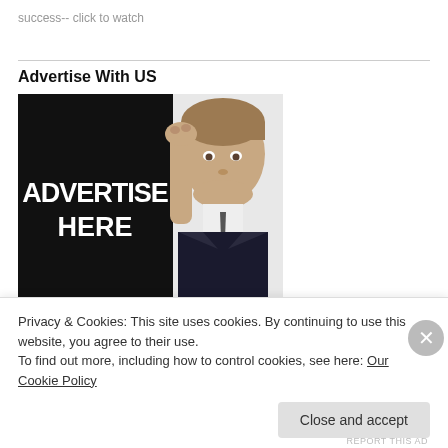success-- click to watch
Advertise With US
[Figure (illustration): Advertising banner image with a man in a suit peeking from behind a black panel. The black panel has text 'ADVERTISE HERE' and 'CLICK HERE' in bold white capital letters.]
Privacy & Cookies: This site uses cookies. By continuing to use this website, you agree to their use.
To find out more, including how to control cookies, see here: Our Cookie Policy
Close and accept